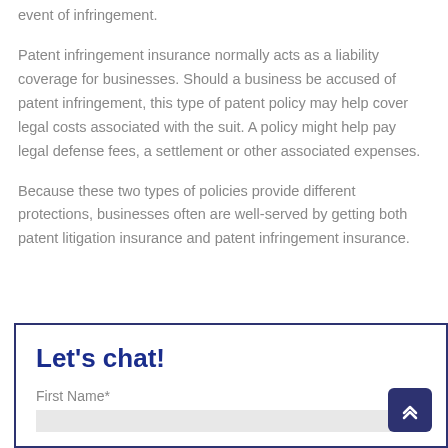event of infringement.
Patent infringement insurance normally acts as a liability coverage for businesses. Should a business be accused of patent infringement, this type of patent policy may help cover legal costs associated with the suit. A policy might help pay legal defense fees, a settlement or other associated expenses.
Because these two types of policies provide different protections, businesses often are well-served by getting both patent litigation insurance and patent infringement insurance.
Let's chat!
First Name*